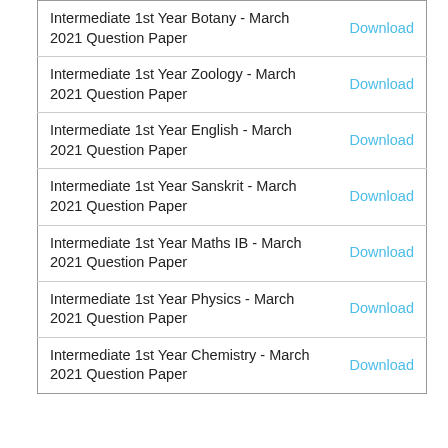| Subject | Link |
| --- | --- |
| Intermediate 1st Year Botany - March 2021 Question Paper | Download |
| Intermediate 1st Year Zoology - March 2021 Question Paper | Download |
| Intermediate 1st Year English - March 2021 Question Paper | Download |
| Intermediate 1st Year Sanskrit - March 2021 Question Paper | Download |
| Intermediate 1st Year Maths IB - March 2021 Question Paper | Download |
| Intermediate 1st Year Physics - March 2021 Question Paper | Download |
| Intermediate 1st Year Chemistry - March 2021 Question Paper | Download |